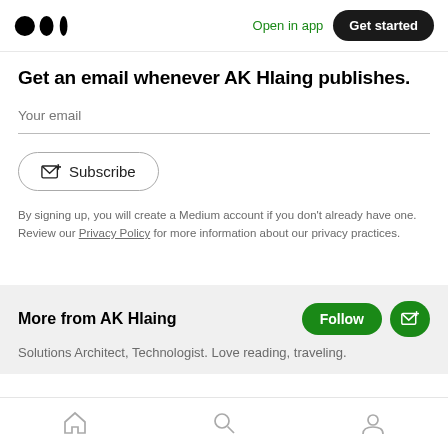Medium logo | Open in app | Get started
Get an email whenever AK Hlaing publishes.
Your email
Subscribe
By signing up, you will create a Medium account if you don't already have one. Review our Privacy Policy for more information about our privacy practices.
More from AK Hlaing
Solutions Architect, Technologist. Love reading, traveling.
Home | Search | Profile